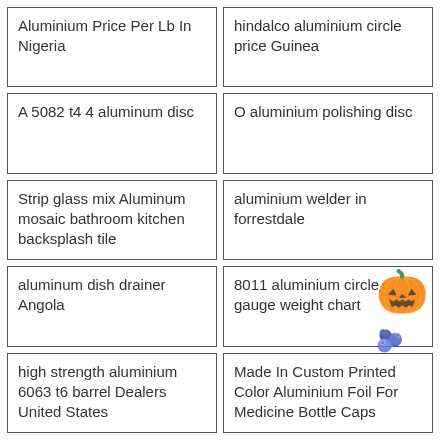Aluminium Price Per Lb In Nigeria
hindalco aluminium circle price Guinea
A 5082 t4 4 aluminum disc
O aluminium polishing disc
Strip glass mix Aluminum mosaic bathroom kitchen backsplash tile
aluminium welder in forrestdale
aluminum dish drainer Angola
8011 aluminium circle gauge weight chart
high strength aluminium 6063 t6 barrel Dealers United States
Made In Custom Printed Color Aluminium Foil For Medicine Bottle Caps